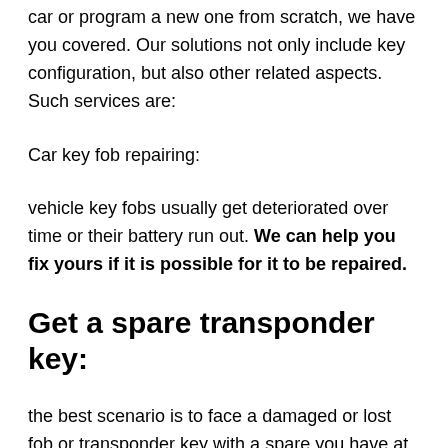car or program a new one from scratch, we have you covered. Our solutions not only include key configuration, but also other related aspects. Such services are:
Car key fob repairing:
vehicle key fobs usually get deteriorated over time or their battery run out. We can help you fix yours if it is possible for it to be repaired.
Get a spare transponder key:
the best scenario is to face a damaged or lost fob or transponder key with a spare you have at home. With us,